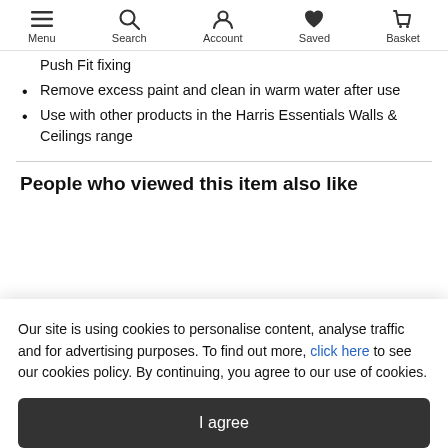Menu  Search  Account  Saved  Basket
Push Fit fixing
Remove excess paint and clean in warm water after use
Use with other products in the Harris Essentials Walls & Ceilings range
People who viewed this item also like
Our site is using cookies to personalise content, analyse traffic and for advertising purposes. To find out more, click here to see our cookies policy. By continuing, you agree to our use of cookies.
I agree